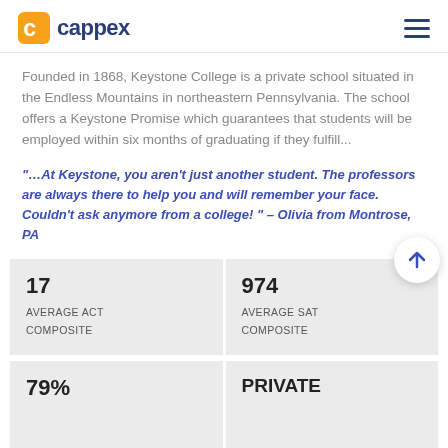cappex
Founded in 1868, Keystone College is a private school situated in the Endless Mountains in northeastern Pennsylvania. The school offers a Keystone Promise which guarantees that students will be employed within six months of graduating if they fulfill...
“…At Keystone, you aren’t just another student. The professors are always there to help you and will remember your face. Couldn’t ask anymore from a college! ” – Olivia from Montrose, PA
| 17
AVERAGE ACT
COMPOSITE | 974
AVERAGE SAT
COMPOSITE |
| 79% | PRIVATE |